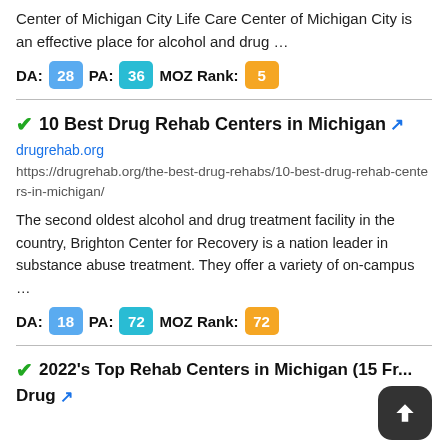Center of Michigan City Life Care Center of Michigan City is an effective place for alcohol and drug …
DA: 28  PA: 36  MOZ Rank: 5
✔10 Best Drug Rehab Centers in Michigan 🔗
drugrehab.org
https://drugrehab.org/the-best-drug-rehabs/10-best-drug-rehab-centers-in-michigan/
The second oldest alcohol and drug treatment facility in the country, Brighton Center for Recovery is a nation leader in substance abuse treatment. They offer a variety of on-campus …
DA: 18  PA: 72  MOZ Rank: 72
✔2022's Top Rehab Centers in Michigan (15 Fr... Drug 🔗